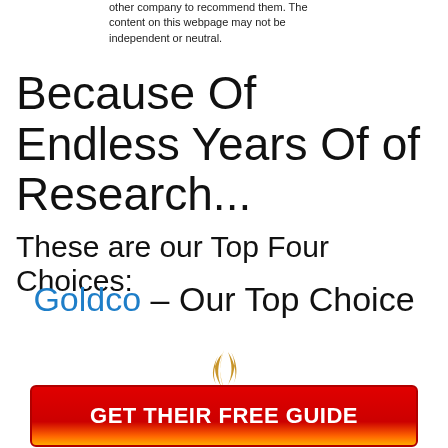other company to recommend them. The content on this webpage may not be independent or neutral.
Because Of Endless Years Of of Research...
These are our Top Four Choices:
Goldco – Our Top Choice
[Figure (logo): Goldco logo with golden flame icon above stylized GOLDCO text with registered trademark symbol]
GET THEIR FREE GUIDE